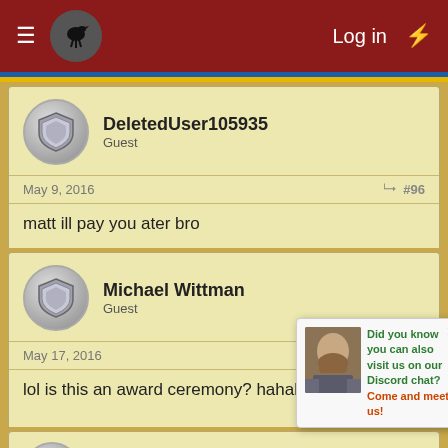Log in
DeletedUser105935
Guest
May 9, 2016  #96
matt ill pay you ater bro
Michael Wittman
Guest
May 17, 2016  #97
lol is this an award ceremony? hahahahaha
DeletedUser ... 65
Guest
Did you know you can also visit us on our Discord chat? Come and meet us!